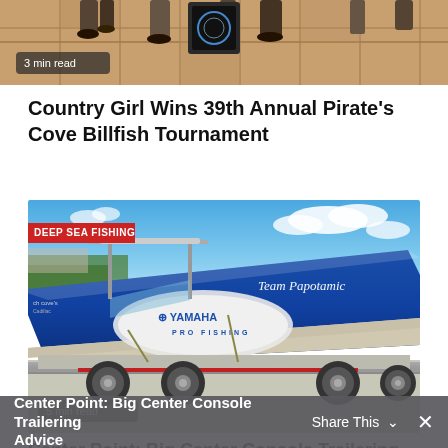[Figure (photo): Partial photo of people at an event, showing feet/legs on tiled floor, with '3 min read' badge overlay]
Country Girl Wins 39th Annual Pirate's Cove Billfish Tournament
[Figure (photo): Photo of a large blue Yamaha Pro Fishing boat (Team Papotamic) on a trailer, with 'DEEP SEA FISHING' category badge and '5 min read' badge]
Center Point: Big Center Console Trailering Advice
Share This ∨  ×